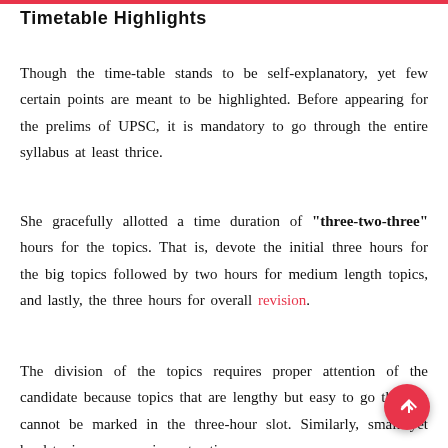Timetable Highlights
Though the time-table stands to be self-explanatory, yet few certain points are meant to be highlighted. Before appearing for the prelims of UPSC, it is mandatory to go through the entire syllabus at least thrice.
She gracefully allotted a time duration of "three-two-three" hours for the topics. That is, devote the initial three hours for the big topics followed by two hours for medium length topics, and lastly, the three hours for overall revision.
The division of the topics requires proper attention of the candidate because topics that are lengthy but easy to go through cannot be marked in the three-hour slot. Similarly, small yet hard topics may require extra time.